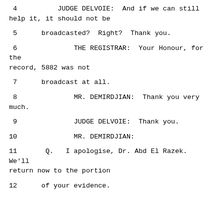4          JUDGE DELVOIE:  And if we can still help it, it should not be
5      broadcasted?  Right?  Thank you.
6              THE REGISTRAR:  Your Honour, for the record, 5882 was not
7      broadcast at all.
8              MR. DEMIRDJIAN:  Thank you very much.
9              JUDGE DELVOIE:  Thank you.
10              MR. DEMIRDJIAN:
11       Q.   I apologise, Dr. Abd El Razek.  We'll return now to the portion
12      of your evidence.